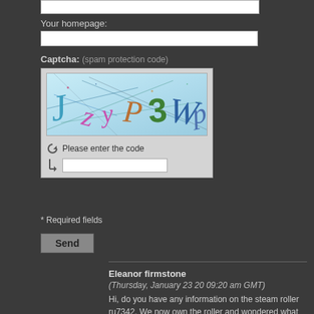[Figure (screenshot): Top text input box (partial, cropped at top of page)]
Your homepage:
[Figure (screenshot): Homepage text input box]
Captcha: (spam protection code)
[Figure (screenshot): CAPTCHA widget showing distorted characters 'J z yP3 Wp' on light blue background, with refresh icon, 'Please enter the code' label, arrow, and text input field]
* Required fields
[Figure (screenshot): Send button]
Eleanor firmstone
(Thursday, January 23 20 09:20 am GMT)
Hi, do you have any information on the steam roller ru7342. We now own the roller and wondered what year this was taken.
Thanks Eleanor
Sarah Mitchell
(Wednesday, September 11 19 10:31 pm BST)
Hi there is a wonderful picture you took of a dear friend of mine on his